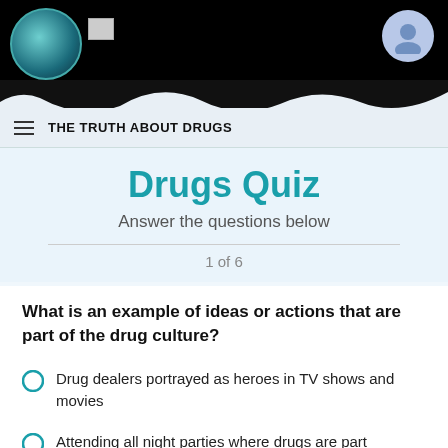THE TRUTH ABOUT DRUGS
Drugs Quiz
Answer the questions below
1 of 6
What is an example of ideas or actions that are part of the drug culture?
Drug dealers portrayed as heroes in TV shows and movies
Attending all night parties where drugs are part